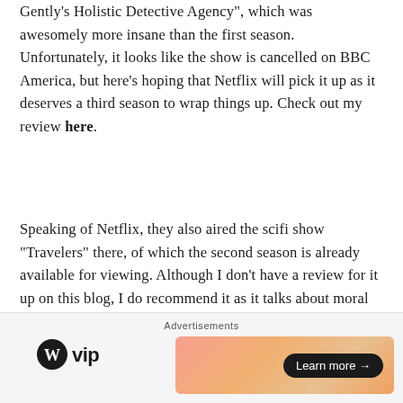Gently's Holistic Detective Agency", which was awesomely more insane than the first season. Unfortunately, it looks like the show is cancelled on BBC America, but here's hoping that Netflix will pick it up as it deserves a third season to wrap things up. Check out my review here.
Speaking of Netflix, they also aired the scifi show "Travelers" there, of which the second season is already available for viewing. Although I don't have a review for it up on this blog, I do recommend it as it talks about moral ethics at times, especially when it comes to time travel.
"The Good Place" continues to be hilarious and
[Figure (infographic): Advertisement bar at the bottom with WordPress VIP logo on the left and an orange/pink gradient banner with a 'Learn more' button on the right, plus a close (X) button in the top-right corner of the ad area.]